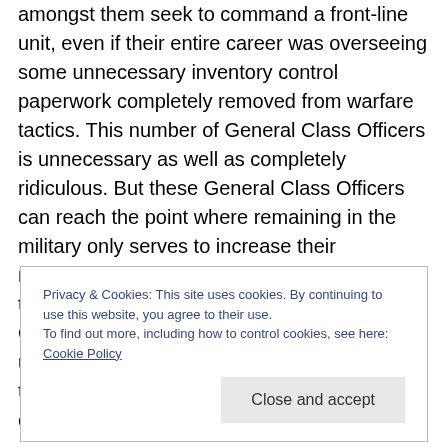amongst them seek to command a front-line unit, even if their entire career was overseeing some unnecessary inventory control paperwork completely removed from warfare tactics. This number of General Class Officers is unnecessary as well as completely ridiculous. But these General Class Officers can reach the point where remaining in the military only serves to increase their retirement pensions, which is increased for those with combat command experience. General Class Officers have become the ultimate good ol' boy's club, and this is a club the United States must not continue to encourage
Privacy & Cookies: This site uses cookies. By continuing to use this website, you agree to their use. To find out more, including how to control cookies, see here: Cookie Policy
Close and accept